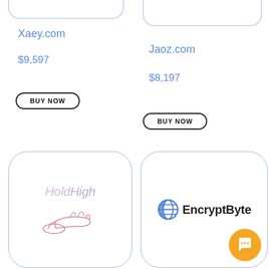[Figure (illustration): Partial rounded card top-left (cropped at top edge)]
[Figure (illustration): Partial rounded card top-right (cropped at top edge)]
Xaey.com
Jaoz.com
$9,597
$8,197
BUY NOW
BUY NOW
[Figure (logo): HoldHigh logo with hand illustration inside rounded card]
[Figure (logo): EncryptByte logo with globe icon and orange chat bubble inside rounded card]